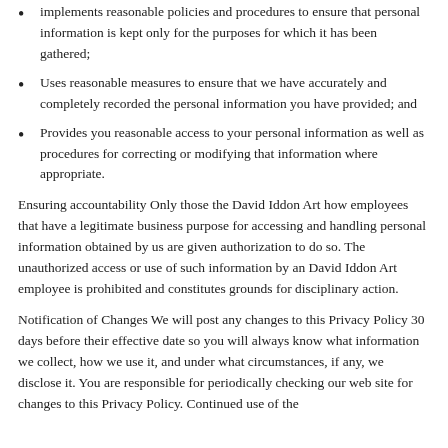implements reasonable policies and procedures to ensure that personal information is kept only for the purposes for which it has been gathered;
Uses reasonable measures to ensure that we have accurately and completely recorded the personal information you have provided; and
Provides you reasonable access to your personal information as well as procedures for correcting or modifying that information where appropriate.
Ensuring accountability Only those the David Iddon Art how employees that have a legitimate business purpose for accessing and handling personal information obtained by us are given authorization to do so. The unauthorized access or use of such information by an David Iddon Art employee is prohibited and constitutes grounds for disciplinary action.
Notification of Changes We will post any changes to this Privacy Policy 30 days before their effective date so you will always know what information we collect, how we use it, and under what circumstances, if any, we disclose it. You are responsible for periodically checking our web site for changes to this Privacy Policy. Continued use of the